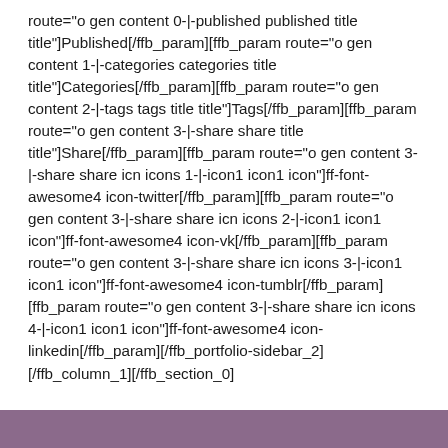route="o gen content 0-|-published published title title"]Published[/ffb_param][ffb_param route="o gen content 1-|-categories categories title title"]Categories[/ffb_param][ffb_param route="o gen content 2-|-tags tags title title"]Tags[/ffb_param][ffb_param route="o gen content 3-|-share share title title"]Share[/ffb_param][ffb_param route="o gen content 3-|-share share icn icons 1-|-icon1 icon1 icon"]ff-font-awesome4 icon-twitter[/ffb_param][ffb_param route="o gen content 3-|-share share icn icons 2-|-icon1 icon1 icon"]ff-font-awesome4 icon-vk[/ffb_param][ffb_param route="o gen content 3-|-share share icn icons 3-|-icon1 icon1 icon"]ff-font-awesome4 icon-tumblr[/ffb_param][ffb_param route="o gen content 3-|-share share icn icons 4-|-icon1 icon1 icon"]ff-font-awesome4 icon-linkedin[/ffb_param][/ffb_portfolio-sidebar_2][/ffb_column_1][/ffb_section_0]